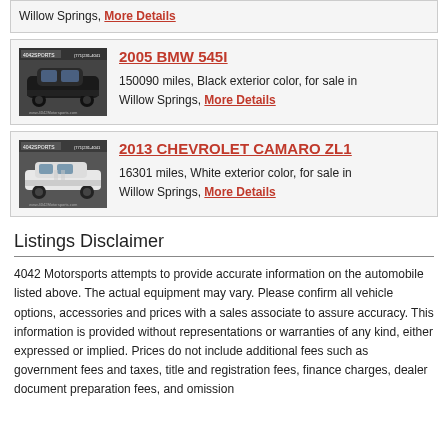Willow Springs, More Details
2005 BMW 545I — 150090 miles, Black exterior color, for sale in Willow Springs, More Details
2013 CHEVROLET CAMARO ZL1 — 16301 miles, White exterior color, for sale in Willow Springs, More Details
Listings Disclaimer
4042 Motorsports attempts to provide accurate information on the automobile listed above. The actual equipment may vary. Please confirm all vehicle options, accessories and prices with a sales associate to assure accuracy. This information is provided without representations or warranties of any kind, either expressed or implied. Prices do not include additional fees such as government fees and taxes, title and registration fees, finance charges, dealer document preparation fees, and omission